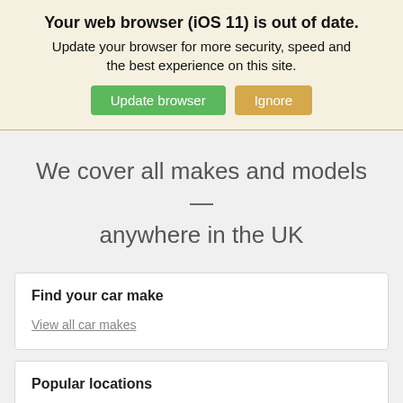Your web browser (iOS 11) is out of date.
Update your browser for more security, speed and the best experience on this site.
Update browser  Ignore
We cover all makes and models — anywhere in the UK
Find your car make
View all car makes
Popular locations
Garages In London